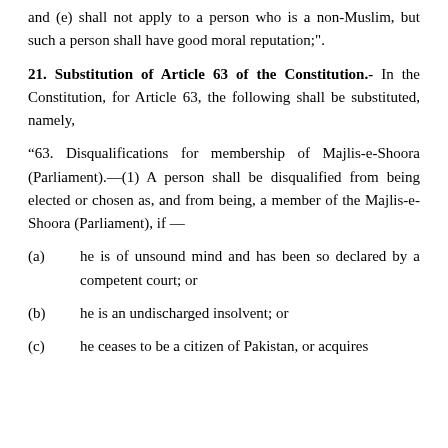and (e) shall not apply to a person who is a non-Muslim, but such a person shall have good moral reputation;".
21. Substitution of Article 63 of the Constitution.- In the Constitution, for Article 63, the following shall be substituted, namely,
“63. Disqualifications for membership of Majlis-e-Shoora (Parliament).—(1) A person shall be disqualified from being elected or chosen as, and from being, a member of the Majlis-e-Shoora (Parliament), if —
(a)    he is of unsound mind and has been so declared by a competent court; or
(b)    he is an undischarged insolvent; or
(c)    he ceases to be a citizen of Pakistan, or acquires